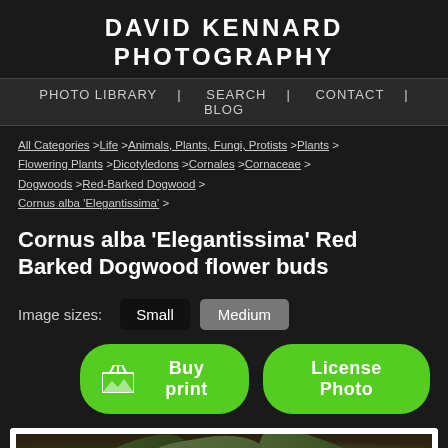DAVID KENNARD PHOTOGRAPHY
PHOTO LIBRARY | SEARCH | CONTACT | BLOG
All Categories >Life >Animals, Plants, Fungi, Protists >Plants > Flowering Plants >Dicotyledons >Cornales >Cornaceae > Dogwoods >Red-Barked Dogwood > Cornus alba 'Elegantissima' >
Cornus alba 'Elegantissima' Red Barked Dogwood flower buds
Image sizes: Small Medium
Buy print  License Photo
[Figure (photo): Close-up photograph of Cornus alba 'Elegantissima' Red Barked Dogwood flower buds with green leaves and small yellowish-white flower buds visible]